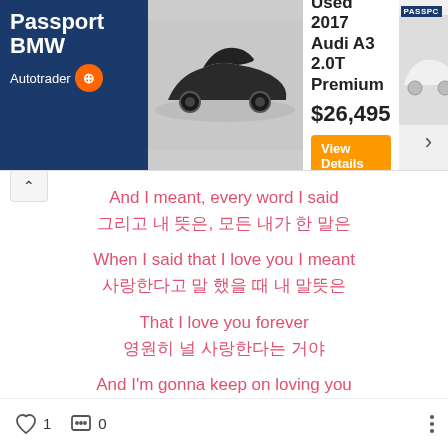[Figure (screenshot): Advertisement banner for Passport BMW on Autotrader showing a Used 2017 Audi A3 2.0T Premium for $26,495 with a View Details button]
And I meant, every word I said
그리고 내 뜻은, 모든 내가 한 말은
When I said that I love you I meant
사랑한다고 말 했을 때 내 말뜻은
That I love you forever
영원히 널 사랑한다는 거야
And I'm gonna keep on loving you